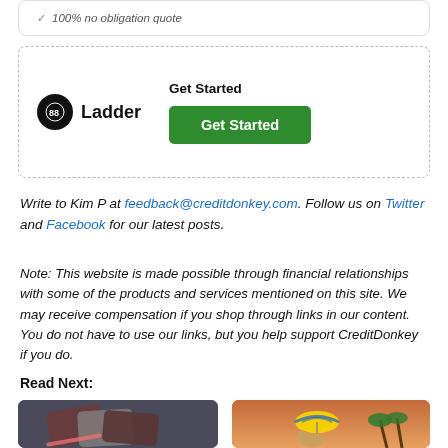[Figure (other): Partial card with checkmark and '100% no obligation quote' text]
[Figure (other): Ladder insurance card with logo and Get Started button]
Write to Kim P at feedback@creditdonkey.com. Follow us on Twitter and Facebook for our latest posts.
Note: This website is made possible through financial relationships with some of the products and services mentioned on this site. We may receive compensation if you shop through links in our content. You do not have to use our links, but you help support CreditDonkey if you do.
Read Next:
[Figure (photo): Thumbnail image: dark background with credit card illustration]
[Figure (photo): Thumbnail image: orange/sunset background with dog under beach umbrella and palm trees]